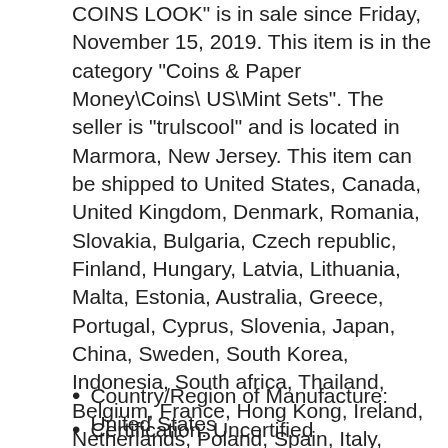COINS LOOK" is in sale since Friday, November 15, 2019. This item is in the category "Coins & Paper Money\Coins\ US\Mint Sets". The seller is "trulscool" and is located in Marmora, New Jersey. This item can be shipped to United States, Canada, United Kingdom, Denmark, Romania, Slovakia, Bulgaria, Czech republic, Finland, Hungary, Latvia, Lithuania, Malta, Estonia, Australia, Greece, Portugal, Cyprus, Slovenia, Japan, China, Sweden, South Korea, Indonesia, South africa, Thailand, Belgium, France, Hong Kong, Ireland, Netherlands, Poland, Spain, Italy, Germany, Austria, Bahamas, Israel, Mexico, New Zealand, Philippines, Singapore, Switzerland, Norway, Saudi arabia, Ukraine, United arab emirates, Qatar, Kuwait, Bahrain, Croatia, Malaysia, Brazil, Chile, Colombia, Bangladesh, Ecuador, Iceland, Peru, Viet nam, Uruguay.
Country/Region of Manufacture: United States
Certification: Uncertified